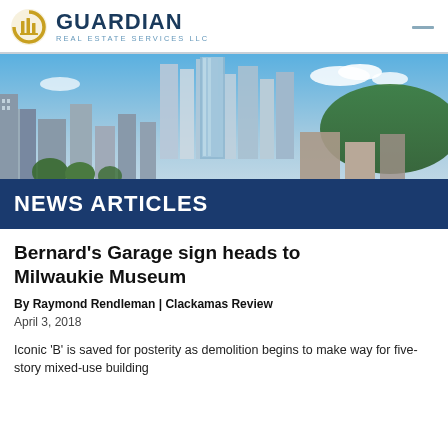GUARDIAN REAL ESTATE SERVICES LLC
[Figure (photo): Aerial cityscape photo of a downtown urban area with tall buildings, blue sky with clouds, and green hills in the background]
NEWS ARTICLES
Bernard's Garage sign heads to Milwaukie Museum
By Raymond Rendleman | Clackamas Review
April 3, 2018
Iconic 'B' is saved for posterity as demolition begins to make way for five-story mixed-use building